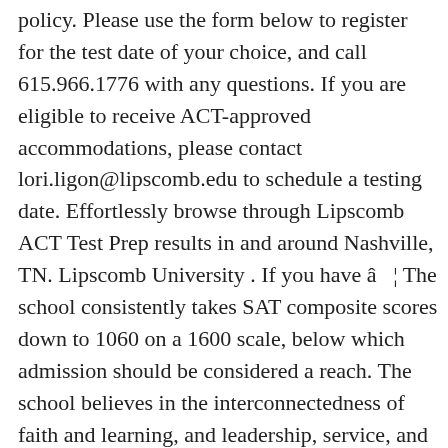policy. Please use the form below to register for the test date of your choice, and call 615.966.1776 with any questions. If you are eligible to receive ACT-approved accommodations, please contact lori.ligon@lipscomb.edu to schedule a testing date. Effortlessly browse through Lipscomb ACT Test Prep results in and around Nashville, TN. Lipscomb University . If you have â ¦ The school consistently takes SAT composite scores down to 1060 on a 1600 scale, below which admission should be considered a reach. The school believes in the interconnectedness of faith and learning, and leadership, service, and faith are central to the university's values. Complete the online form and bring your payment with you on the day of your test. Nashville, TN 37204 Based on 126 reviews. Most of the students that got into David Lipscomb University had an SAT score within the range of 1000 to 1200...